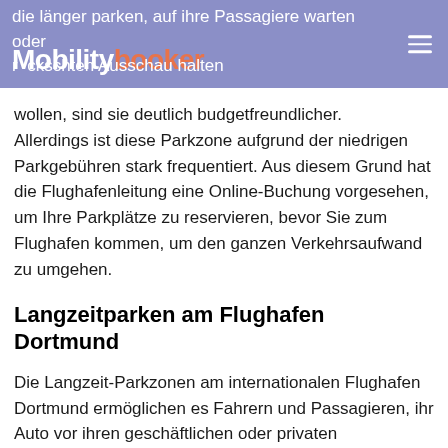Mobility booker
die länger parken, auf ihre Passagiere warten oder rückschten Ausschau halten wollen, sind sie deutlich budgetfreundlicher.
Allerdings ist diese Parkzone aufgrund der niedrigen Parkgebühren stark frequentiert. Aus diesem Grund hat die Flughafenleitung eine Online-Buchung vorgesehen, um Ihre Parkplätze zu reservieren, bevor Sie zum Flughafen kommen, um den ganzen Verkehrsaufwand zu umgehen.
Langzeitparken am Flughafen Dortmund
Die Langzeit-Parkzonen am internationalen Flughafen Dortmund ermöglichen es Fahrern und Passagieren, ihr Auto vor ihren geschäftlichen oder privaten Freizeitreisen länger zu parken. Der Flughafen bietet diese Parkplätze zu vergünstigten Tarifen an, was sie für diejenigen, die es...